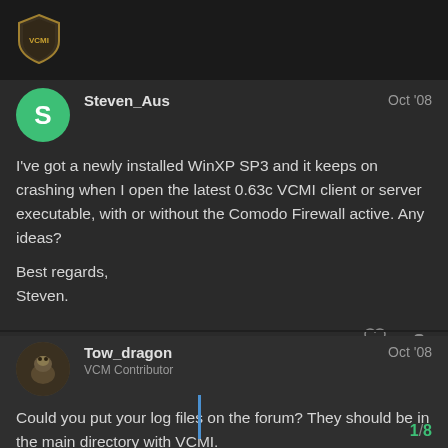VCMI
Steven_Aus
Oct '08
I've got a newly installed WinXP SP3 and it keeps on crashing when I open the latest 0.63c VCMI client or server executable, with or without the Comodo Firewall active. Any ideas?

Best regards,
Steven.
Tow_dragon
VCM Contributor
Oct '08
Could you put your log files on the forum? They should be in the main directory with VCMI.
1 / 8